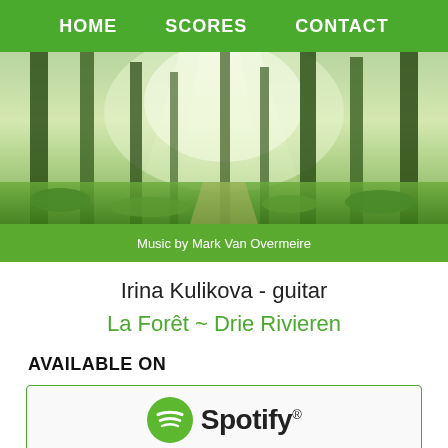HOME   SCORES   CONTACT
[Figure (photo): Sunlit forest with tall trees, green undergrowth and misty light rays. Caption bar reads: Music by Mark Van Overmeire]
Music by Mark Van Overmeire
Irina Kulikova - guitar
La Forêt ~ Drie Rivieren
AVAILABLE ON
[Figure (logo): Spotify logo: green circle icon with sound wave lines and 'Spotify' wordmark with registered trademark symbol]